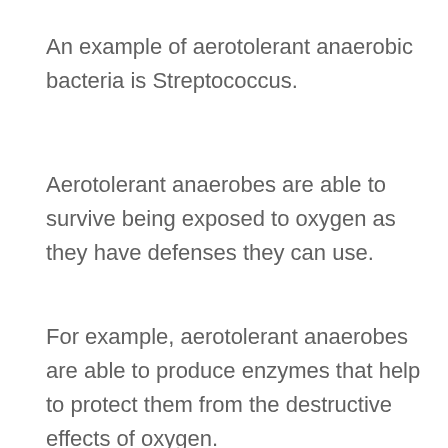An example of aerotolerant anaerobic bacteria is Streptococcus.
Aerotolerant anaerobes are able to survive being exposed to oxygen as they have defenses they can use.
For example, aerotolerant anaerobes are able to produce enzymes that help to protect them from the destructive effects of oxygen.
They use the enzymes to convert the oxygen into other molecules which they can destroy with other